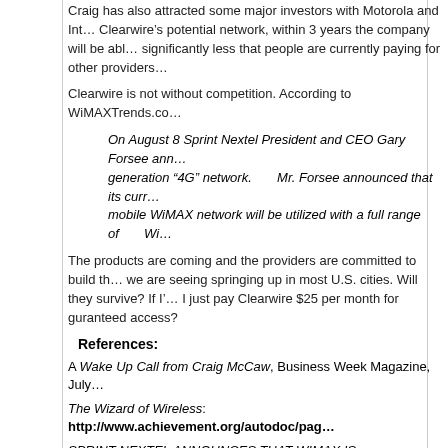Craig has also attracted some major investors with Motorola and Intel... Clearwire's potential network, within 3 years the company will be able... significantly less that people are currently paying for other providers...
Clearwire is not without competition. According to WiMAXTrends.com...
On August 8 Sprint Nextel President and CEO Gary Forsee ann... generation "4G" network. Mr. Forsee announced that its curr... mobile WiMAX network will be utilized with a full range of Wi...
The products are coming and the providers are committed to build th... we are seeing springing up in most U.S. cities. Will they survive? If I'... I just pay Clearwire $25 per month for guranteed access?
References:
A Wake Up Call from Craig McCaw, Business Week Magazine, July...
The Wizard of Wireless: http://www.achievement.org/autodoc/pag...
SPRINT NEXTEL ANNOUNCES THAT WIMAX IS TECHNOLOGY O... http://WiMAXTrends.com
Direct download: wimax_whynot_FINAL.mp3
Category: podcasts — posted at: 7:44pm EDT
Sun, 13 August 2006
Blogcast 5: Google, Gdrive, and Platypu... [17:54]
Since the launch of Gmail and the (at the time) unheard of storage space of 2 gio...